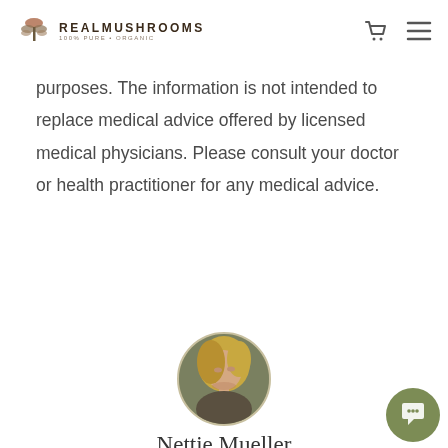REAL MUSHROOMS
purposes. The information is not intended to replace medical advice offered by licensed medical physicians. Please consult your doctor or health practitioner for any medical advice.
[Figure (photo): Circular portrait photo of Nettie Mueller, a woman with blonde hair]
Nettie Mueller
My mission is to help others find a way to live in accordance with nature and their own unique mind-body ecosystem. Through